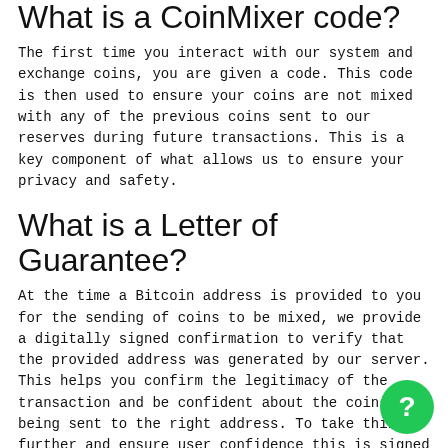What is a CoinMixer code?
The first time you interact with our system and exchange coins, you are given a code. This code is then used to ensure your coins are not mixed with any of the previous coins sent to our reserves during future transactions. This is a key component of what allows us to ensure your privacy and safety.
What is a Letter of Guarantee?
At the time a Bitcoin address is provided to you for the sending of coins to be mixed, we provide a digitally signed confirmation to verify that the provided address was generated by our server. This helps you confirm the legitimacy of the transaction and be confident about the coins being sent to the right address. To take things further and ensure user confidence this is signed from our bitcoin account 3E2WowSXLpZu8idw9Uc8QWpfXyFMKFvVx7 and can be used to verify the digital sign from your own wallet